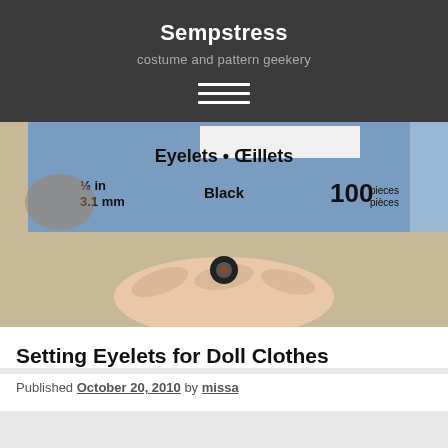Sempstress
costume and pattern geekery
[Figure (photo): Photo showing a blue box of eyelets labeled 'Eyelets • Œillets, 1/8 in, 3.1 mm, Black, 100 pieces/pièces' and a hand holding a small black eyelet]
Setting Eyelets for Doll Clothes
Published October 20, 2010 by missa